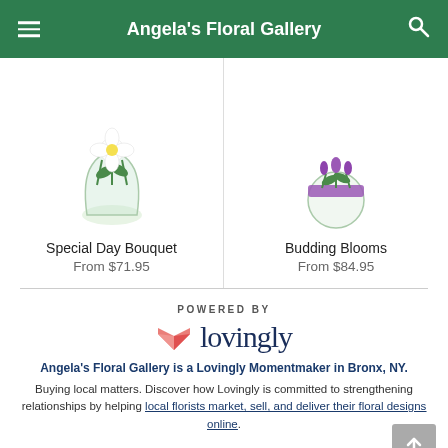Angela's Floral Gallery
Special Day Bouquet
From $71.95
Budding Blooms
From $84.95
POWERED BY
[Figure (logo): Lovingly logo with pink origami heart and dark blue 'lovingly' text]
Angela's Floral Gallery is a Lovingly Momentmaker in Bronx, NY.
Buying local matters. Discover how Lovingly is committed to strengthening relationships by helping local florists market, sell, and deliver their floral designs online.